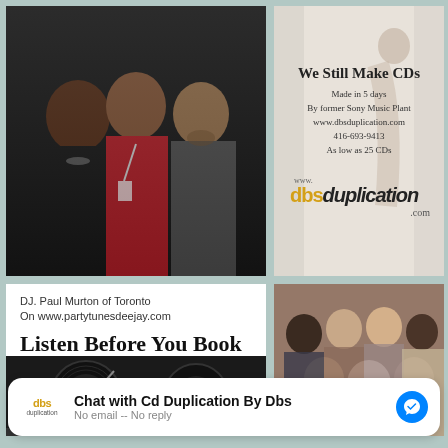[Figure (photo): Three people posing together at an event, two men and a woman in the middle wearing a red dress, all with conference lanyards]
[Figure (photo): Advertisement for DBS Duplication CD manufacturing service with a woman posing in background]
We Still Make CDs
Made in 5 days
By former Sony Music Plant
www.dbsduplication.com
416-693-9413
As low as 25 CDs
[Figure (photo): DJ Paul Murton advertisement with turntables photo]
DJ. Paul Murton of Toronto
On www.partytunesdeejay.com
Listen Before You Book
[Figure (photo): Group of young people smiling, posing together at an event]
Chat with Cd Duplication By Dbs
No email -- No reply